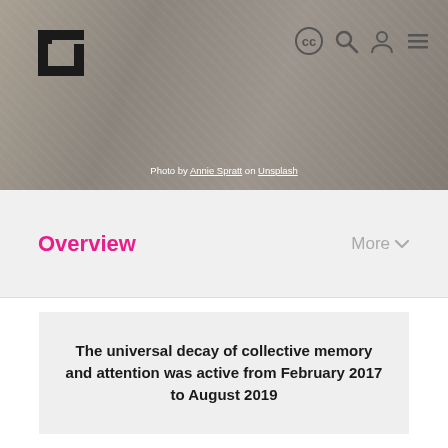[Figure (photo): Header banner with photographic background showing objects on a surface (compass, postcards), overlaid with CC license icon, search icon, user icon, hamburger menu, and photo credit text. Logo in top-left corner.]
Overview
More
The universal decay of collective memory and attention was active from February 2017 to August 2019